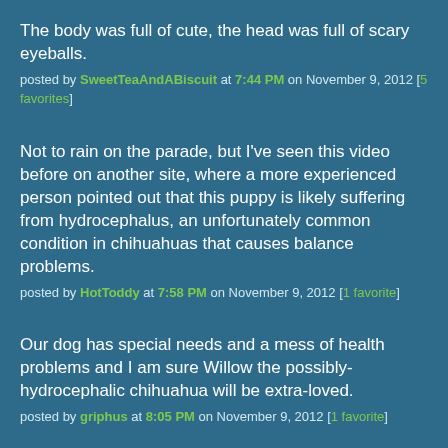The body was full of cute, the head was full of scary eyeballs.
posted by SweetTeaAndABiscuit at 7:44 PM on November 9, 2012 [5 favorites]
Not to rain on the parade, but I've seen this video before on another site, where a more experienced person pointed out that this puppy is likely suffering from hydrocephalus, an unfortunately common condition in chihuahuas that causes balance problems.
posted by HotToddy at 7:58 PM on November 9, 2012 [1 favorite]
Our dog has special needs and a mess of health problems and I am sure Willow the possibly-hydrocephalic chihuahua will be extra-loved.
posted by griphus at 8:05 PM on November 9, 2012 [1 favorite]